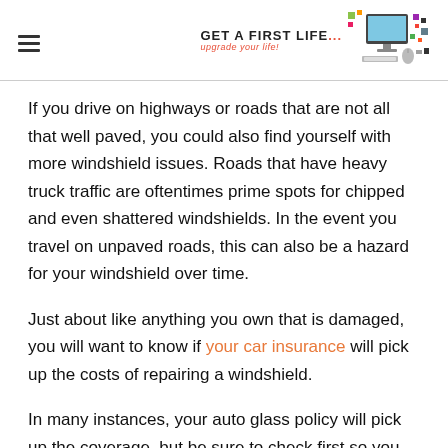Get A First Life — upgrade your life! [logo with computer/workspace icon]
If you drive on highways or roads that are not all that well paved, you could also find yourself with more windshield issues. Roads that have heavy truck traffic are oftentimes prime spots for chipped and even shattered windshields. In the event you travel on unpaved roads, this can also be a hazard for your windshield over time.
Just about like anything you own that is damaged, you will want to know if your car insurance will pick up the costs of repairing a windshield.
In many instances, your auto glass policy will pick up the coverage, but be sure to check first so you don't come across any unpleasant financial surprises. Even better